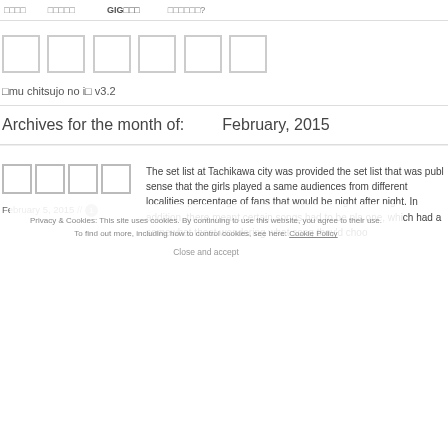□□□□   □□□□□   GIG□□□   □□□□□□?
[Figure (logo): Six square boxes forming a logo]
□mu chitsujo no i□ v3.2
Archives for the month of:   February, 2015
[Figure (logo): Seven square boxes forming post title logo]
February 5, 2015 //  1
The set list at Tachikawa city was provided the set list that was publ sense that the girls played a same audiences from different localities percentage of fans that would be night after night. In addition, there meant certain songs had to be pla one, which had a somewhat theat wondering what song they'd choo